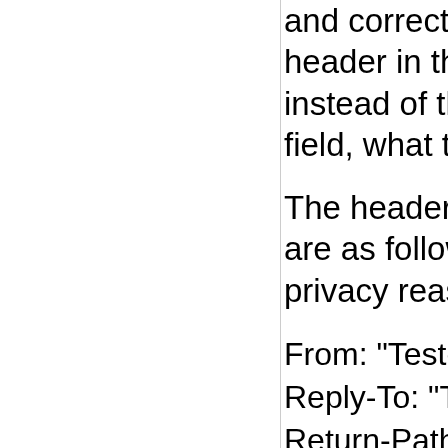and correctly shows the value of the from header in the from field in the interface, instead of the sender header in the from field, what the Desktop client is doing.
The headers that are send with the mail are as following (changed the domains for privacy reasons):
From: "Testdomain" info at testdomain
Reply-To: "Testdomain" info at testdo
Return-Path: info at 123847thgashfjh
Sender: info at 123847thgashfjhjykf-
TL;DR:
Outlook is showing "info at 123847th
We contacted Microsoft through phone and mail previously, and they seem to insist on changing our SMTP servers, but that is not the problem, since we can replicate this